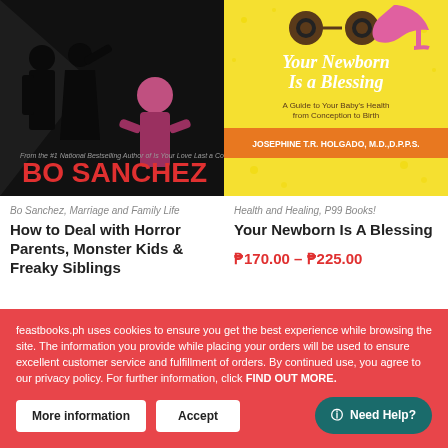[Figure (photo): Book cover of 'How to Deal with Horror Parents, Monster Kids & Freaky Siblings' by Bo Sanchez. Dark background with silhouettes of adults and a child.]
[Figure (illustration): Book cover of 'Your Newborn Is A Blessing' by Josephine T.R. Holgado, M.D.,D.P.P.S. Yellow background with cartoon baby shoes and pacifier-like icons.]
Bo Sanchez, Marriage and Family Life
How to Deal with Horror Parents, Monster Kids & Freaky Siblings
Health and Healing, P99 Books!
Your Newborn Is A Blessing
₱170.00 – ₱225.00
feastbooks.ph uses cookies to ensure you get the best experience while browsing the site. The information you provide while placing your orders will be used to ensure excellent customer service and fulfillment of orders. By continued use, you agree to our privacy policy. For further information, click FIND OUT MORE.
More information
Accept
Need Help?